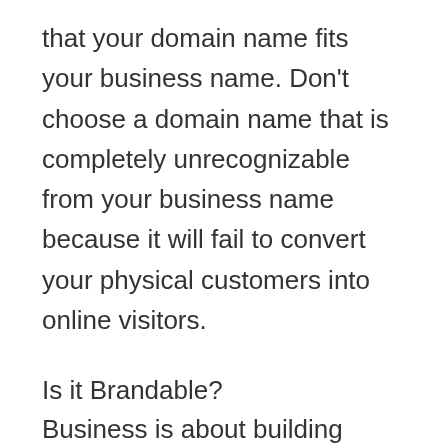that your domain name fits your business name. Don't choose a domain name that is completely unrecognizable from your business name because it will fail to convert your physical customers into online visitors.
Is it Brandable?
Business is about building enduring brands, and one of your key business goals will be to grow your brand and reach more customers. Reputable businesses spend many years...